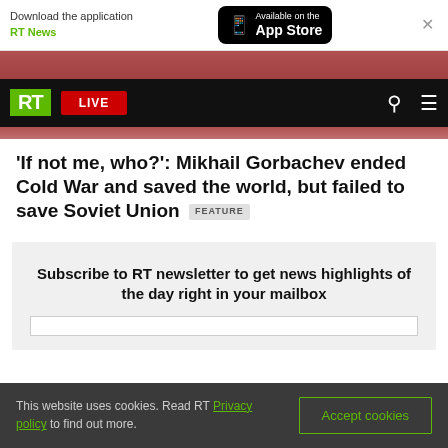[Figure (screenshot): App Store download banner with RT News label and Available on the App Store button]
[Figure (screenshot): RT website navigation bar with green RT logo, red LIVE button, search and menu icons]
'If not me, who?': Mikhail Gorbachev ended Cold War and saved the world, but failed to save Soviet Union [FEATURE]
Subscribe to RT newsletter to get news highlights of the day right in your mailbox
This website uses cookies. Read RT Privacy policy to find out more.